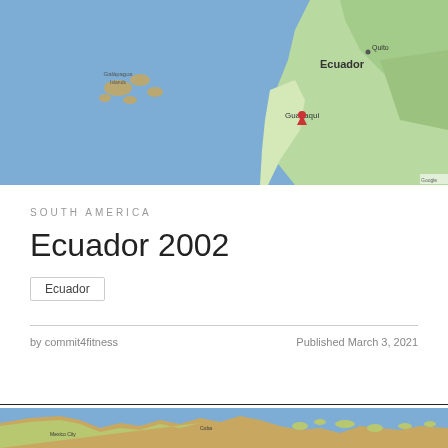[Figure (map): Google Maps view showing Ecuador and the Pacific Ocean including the Galapagos Islands. The map shows Ecuador's coastline, with Guayaquil and Quito labeled, surrounded by green terrain and blue ocean.]
SOUTH AMERICA
Ecuador 2002
Ecuador
by commit4fitness
Published March 3, 2021
[Figure (map): Google Maps view showing Central America and the Caribbean region, including Mexico City area on the left and various Caribbean islands, with blue ocean dominating the scene.]